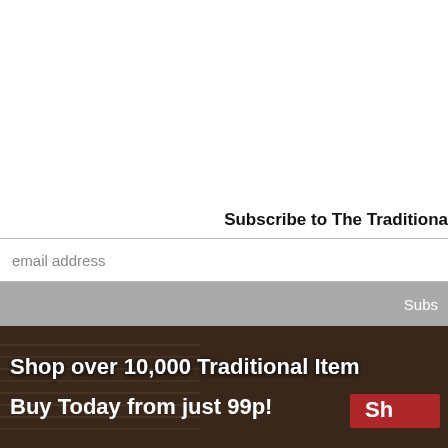Subscribe to The Traditiona…
email address
Subs…
[Figure (illustration): Promotional banner with dark background image of traditional music items. White bold text reads 'Shop over 10,000 Traditional Item…' and 'Buy Today from just 99p!' with a red button showing 'Sh…']